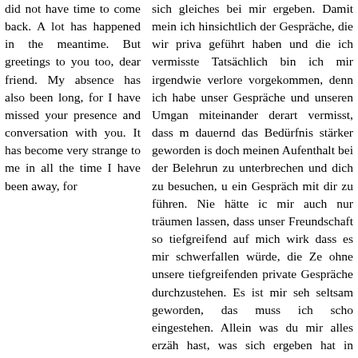did not have time to come back. A lot has happened in the meantime. But greetings to you too, dear friend. My absence has also been long, for I have missed your presence and conversation with you. It has become very strange to me in all the time I have been away, for
sich gleiches bei mir ergeben. Damit mein ich hinsichtlich der Gespräche, die wir priva geführt haben und die ich vermisste Tatsächlich bin ich mir irgendwie verlore vorgekommen, denn ich habe unser Gespräche und unseren Umgan miteinander derart vermisst, dass m dauernd das Bedürfnis stärker geworden is doch meinen Aufenthalt bei der Belehrun zu unterbrechen und dich zu besuchen, u ein Gespräch mit dir zu führen. Nie hätte ic mir auch nur träumen lassen, dass unser Freundschaft so tiefgreifend auf mich wirk dass es mir schwerfallen würde, die Ze ohne unsere tiefgreifenden private Gespräche durchzustehen. Es ist mir seh seltsam geworden, das muss ich scho eingestehen. Allein was du mir alles erzäh hast, was sich ergeben hat in deiner Leben, das ganz anders ist, als man dir se